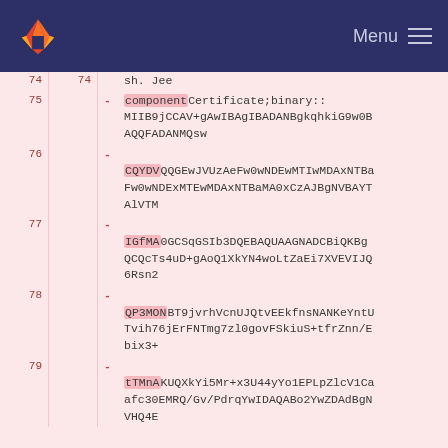GitLab — Menu
74 | 74 | sh. Jee
75 | - componentCertificate;binary::MIIB9jCCAV+gAwIBAgIBADANBgkqhkiG9w0BAQQFADANMQsw
76 | - CQYDVQQGEwJVUzAeFw0wNDEwMTIwMDAxNTBaFw0wNDExMTEwMDAxNTBaMA0xCzAJBgNVBAYTAlVTM
77 | - IGfMA0GCSqGSIb3DQEBAQUAAAGNADCBiQKBgQCQcTs4uD+gAoQ1XkYN4woLtZaEi7XVEVIJQ6Rsn2
78 | - QP3MONBt9jvrhVcnUJQtvEEkfnsNANKeYntUTvih76jErFNTmg7zl0govFSkiuS+tfrZnn/Ebix3+
79 | - tTMnAKUQXkYi5Mr+x3U44yYo1EPLpZlcV1Caafc30EMRQ/Gv/PdrqYwIDAQABo2YwZDAdBgNVHQ4E